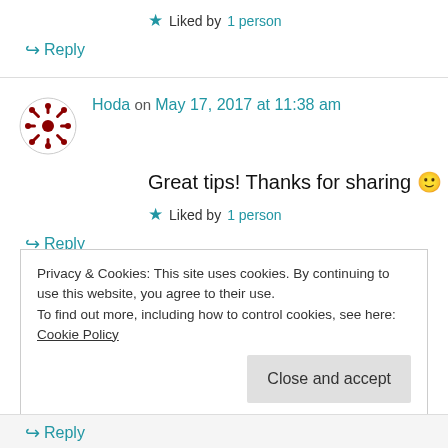★ Liked by 1 person
↪ Reply
Hoda on May 17, 2017 at 11:38 am
Great tips! Thanks for sharing 🙂
★ Liked by 1 person
↪ Reply
Privacy & Cookies: This site uses cookies. By continuing to use this website, you agree to their use. To find out more, including how to control cookies, see here: Cookie Policy
Close and accept
↪ Reply